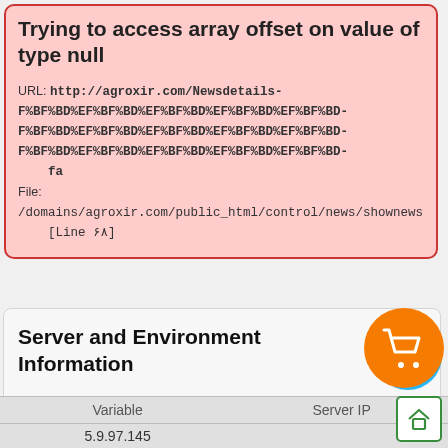Trying to access array offset on value of type null
URL: http://agroxir.com/Newsdetails-F%BF%BD%EF%BF%BD%EF%BF%BD%EF%BF%BD%EF%BF%BD-F%BF%BD%EF%BF%BD%EF%BF%BD%EF%BF%BD%EF%BF%BD-F%BF%BD%EF%BF%BD%EF%BF%BD%EF%BF%BD%EF%BF%BD-fa
File:
/domains/agroxir.com/public_html/control/news/shownews
[Line ۶۸]
تماس با ما
Server and Environment Information
| Variable | Server IP |
| --- | --- |
| 5.9.97.145 |  |